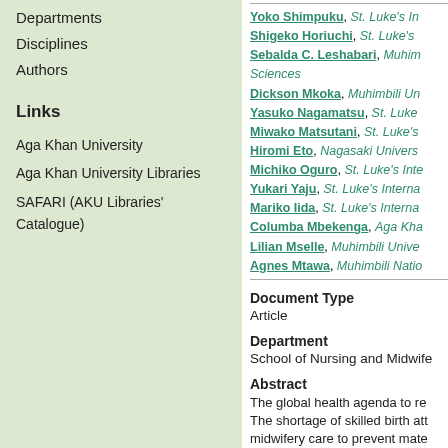Departments
Disciplines
Authors
Links
Aga Khan University
Aga Khan University Libraries
SAFARI (AKU Libraries' Catalogue)
Yoko Shimpuku, St. Luke's In...
Shigeko Horiuchi, St. Luke's...
Sebalda C. Leshabari, Muhim...
Sciences
Dickson Mkoka, Muhimbili Un...
Yasuko Nagamatsu, St. Luke...
Miwako Matsutani, St. Luke's...
Hiromi Eto, Nagasaki Univers...
Michiko Oguro, St. Luke's Inte...
Yukari Yaju, St. Luke's Interna...
Mariko Iida, St. Luke's Interna...
Columba Mbekenga, Aga Kha...
Lilian Mselle, Muhimbili Unive...
Agnes Mtawa, Muhimbili Natio...
Document Type
Article
Department
School of Nursing and Midwife...
Abstract
The global health agenda to re... The shortage of skilled birth att... midwifery care to prevent mate... develop midwifery leaders cap...